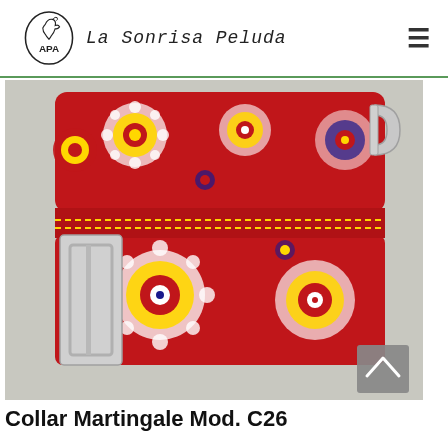APA La Sonrisa Peluda
[Figure (photo): A red floral patterned martingale dog collar with silver metal hardware (rectangular slide and D-ring). The fabric features colorful mandala-style flowers on a red background, photographed on a light surface.]
Collar Martingale Mod. C26